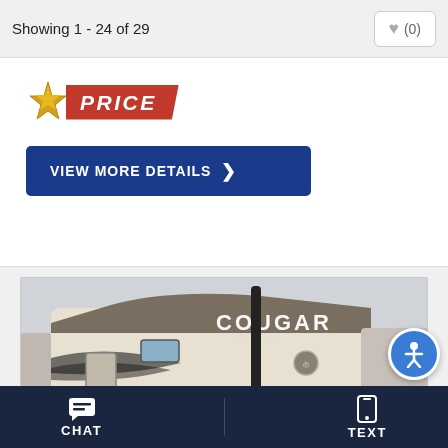Showing 1 - 24 of 29
[Figure (screenshot): Partial product card showing a red PRICE badge with a star/burst icon on the left]
[Figure (other): Blue button labeled VIEW MORE DETAILS with a right chevron]
[Figure (photo): Photo of a Cougar brand travel trailer RV in a lot, white and tan exterior with dark decorative graphics]
[Figure (other): Blue circular accessibility icon button in the bottom right corner]
CHAT   TEXT